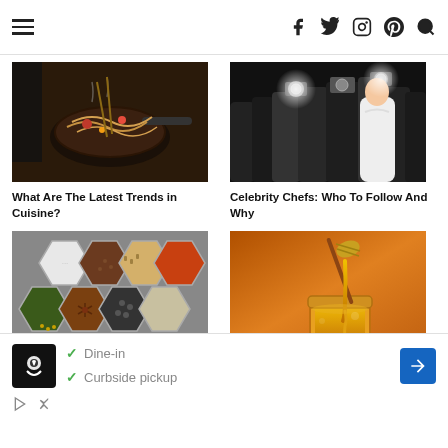Navigation header with hamburger menu and social icons (Facebook, Twitter, Instagram, Pinterest, Search)
[Figure (photo): Chef cooking pasta in a pan in a restaurant kitchen, dark background]
What Are The Latest Trends in Cuisine?
[Figure (photo): Crowd of paparazzi photographers with cameras and flashes at a celebrity event]
Celebrity Chefs: Who To Follow And Why
[Figure (photo): Hexagonal containers filled with various spices and seeds arranged in a pattern]
[Figure (photo): Honey dripping from a honey dipper into a glass jar on orange background]
[Figure (screenshot): Advertisement banner: restaurant logo, Dine-in and Curbside pickup checkmarks, navigation arrow icon]